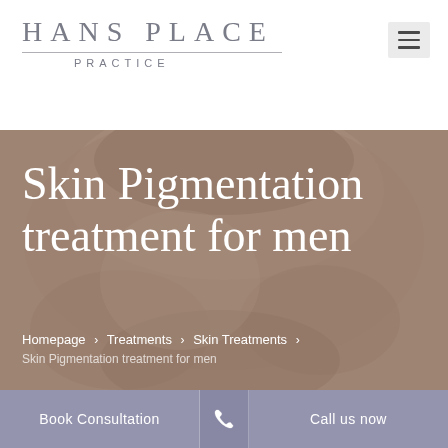HANS PLACE PRACTICE
[Figure (photo): Background photo of hands performing a facial skin treatment on a male patient, with a warm brownish-beige semi-transparent overlay. Large white serif text reads 'Skin Pigmentation treatment for men'.]
Skin Pigmentation treatment for men
Homepage > Treatments > Skin Treatments > Skin Pigmentation treatment for men
Book Consultation
Call us now